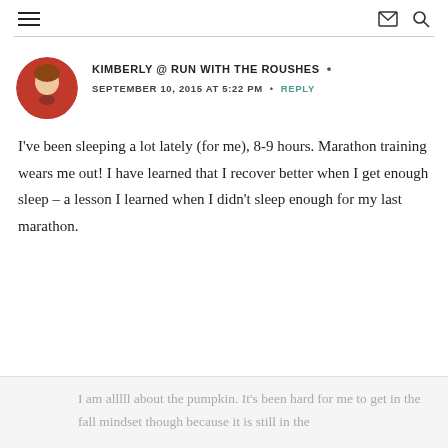≡  ✉ 🔍
KIMBERLY @ RUN WITH THE ROUSHES · SEPTEMBER 10, 2015 AT 5:22 PM · REPLY
I've been sleeping a lot lately (for me), 8-9 hours. Marathon training wears me out! I have learned that I recover better when I get enough sleep – a lesson I learned when I didn't sleep enough for my last marathon.
I am alllll about the pumpkin. It's been hard for me to get in the fall mindset though because it is still in the